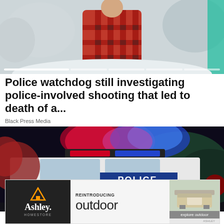[Figure (photo): Person in red/black plaid flannel shirt outdoors in snowy winter setting with snow-covered trees in background]
Police watchdog still investigating police-involved shooting that led to death of a...
Black Press Media
[Figure (photo): Police car with red and blue flashing lights at night, showing a police cruiser with POLICE text visible on the side]
[Figure (other): Ashley HomeStore advertisement - Reintroducing outdoor furniture collection with explore outdoor button]